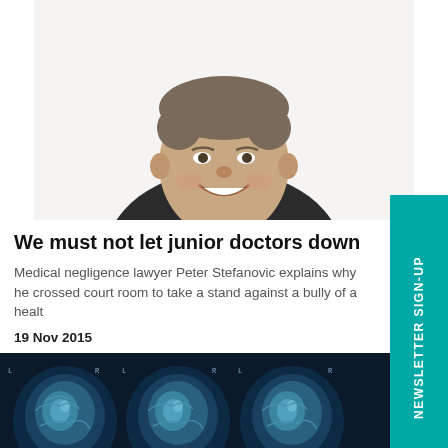[Figure (photo): Headshot of a middle-aged man in a suit, smiling, against white background]
We must not let junior doctors down
Medical negligence lawyer Peter Stefanovic explains why he crossed court room to take a stand against a bully of a healt
19 Nov 2015
[Figure (photo): Multiple CT brain scan images arranged in rows on a dark background]
[Figure (other): NEWSLETTER SIGN-UP vertical teal/turquoise tab on the right side]